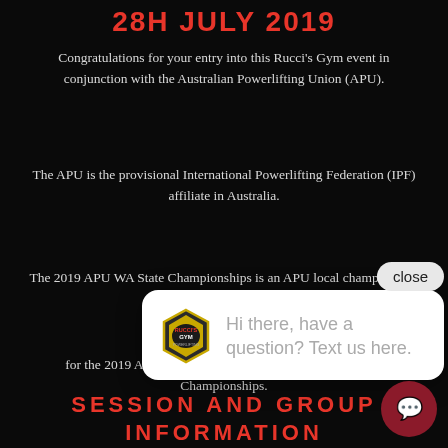28H JULY 2019
Congratulations for your entry into this Rucci's Gym event in conjunction with the Australian Powerlifting Union (APU).
The APU is the provisional International Powerlifting Federation (IPF) affiliate in Australia.
The 2019 APU WA State Championships is an APU local championship for Powerlifting and
This eve... for the 2019 APU Australian National Classic Powerlifting Championships.
SESSION AND GROUP INFORMATION
[Figure (other): Chat popup overlay with Rucci's Gym logo and text 'Hi there, have a question? Text us here.' with a close button and chat bubble icon.]